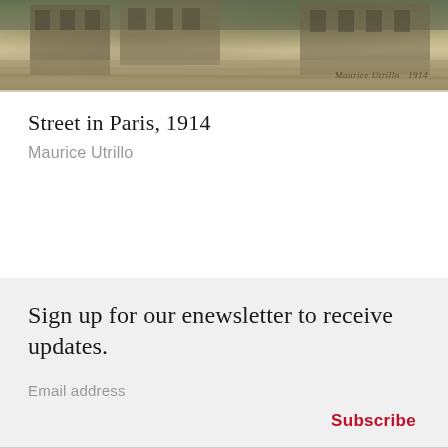[Figure (photo): Cropped top portion of a painting showing a Paris street scene, muted earthy tones with browns and greens, signed 'Maurice Utrillo 1914' in the lower right corner.]
Street in Paris, 1914
Maurice Utrillo
Sign up for our enewsletter to receive updates.
Email address
Subscribe